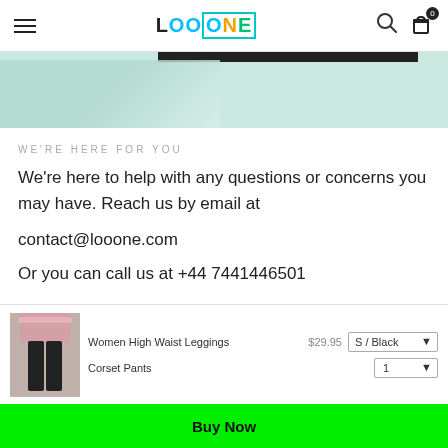LOOONE — navigation header with hamburger menu, logo, search and cart icons
[Figure (photo): Partial banner image with light teal/mint background and dark bar element]
WE'RE HERE FOR YOU
We're here to help with any questions or concerns you may have. Reach us by email at
contact@looone.com
Or you can call us at +44 7441446501
[Figure (photo): Product image of Women High Waist Leggings Corset Pants]
Women High Waist Leggings $29.95 S / Black
Corset Pants  1
Buy Now